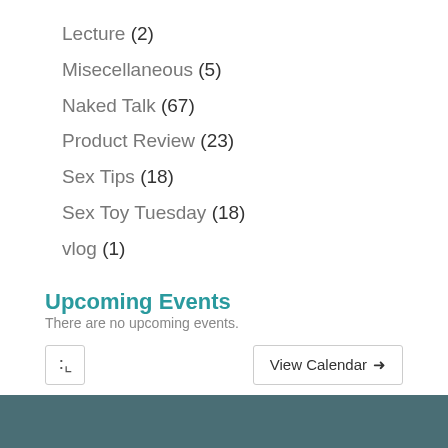Lecture (2)
Misecellaneous (5)
Naked Talk (67)
Product Review (23)
Sex Tips (18)
Sex Toy Tuesday (18)
vlog (1)
Upcoming Events
There are no upcoming events.
RSS | View Calendar →